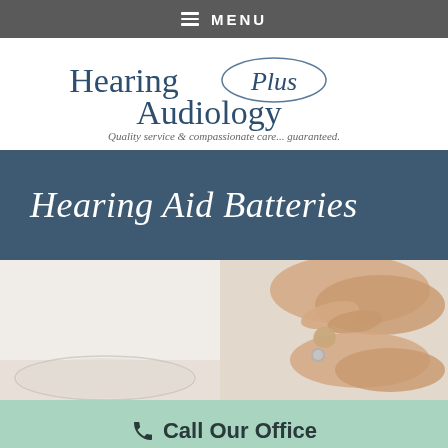MENU
[Figure (logo): Hearing Plus Audiology logo with oval outline. Text reads 'Hearing Plus Audiology' with italic 'Plus'. Tagline: 'Quality service & compassionate care... guaranteed.']
Hearing Aid Batteries
[Figure (photo): Hands holding a small in-the-ear hearing aid device and inserting a small round battery. A reflective oval object visible in lower left.]
Call Our Office